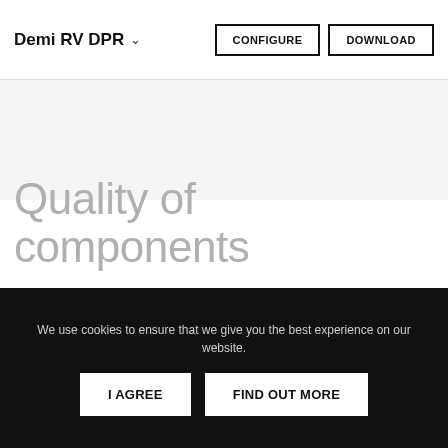Demi RV DPR   CONFIGURE   DOWNLOAD
Quality of components
Created with the best materials and components, Demi provides excellent light quality and even illumination with a low glare.
We use cookies to ensure that we give you the best experience on our website.
I AGREE   FIND OUT MORE